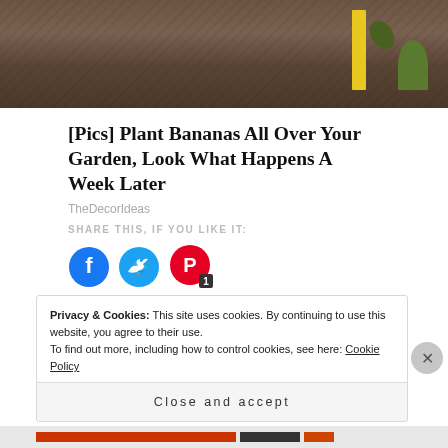[Figure (photo): Soil/dirt garden background with yellow stake and green plant visible, top portion of article image]
[Pics] Plant Bananas All Over Your Garden, Look What Happens A Week Later
TheDecorIdeas
SHARE THIS, IF YOU LIKE IT:
[Figure (infographic): Three social share buttons: Facebook (blue circle), Twitter (light blue circle), Pinterest (red circle with badge showing count 1)]
Loading...
Privacy & Cookies: This site uses cookies. By continuing to use this website, you agree to their use.
To find out more, including how to control cookies, see here: Cookie Policy
Close and accept